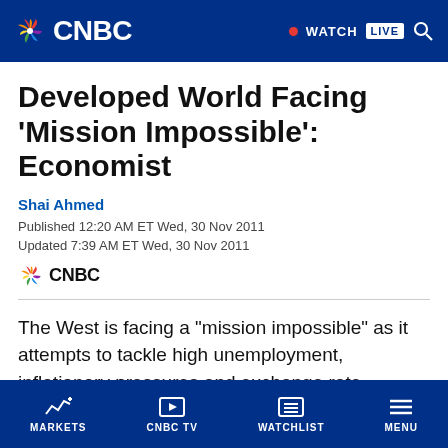CNBC — WATCH LIVE
Developed World Facing 'Mission Impossible': Economist
Shai Ahmed
Published 12:20 AM ET Wed, 30 Nov 2011
Updated 7:39 AM ET Wed, 30 Nov 2011
[Figure (logo): CNBC logo with NBC peacock]
The West is facing a "mission impossible" as it attempts to tackle high unemployment, inflationary pressures and exchange rate tensions, an economist told CNBC.
MARKETS  CNBC TV  WATCHLIST  MENU